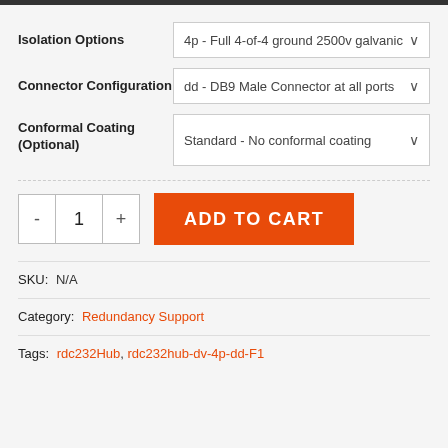Isolation Options: 4p - Full 4-of-4 ground 2500v galvanic
Connector Configuration: dd - DB9 Male Connector at all ports
Conformal Coating (Optional): Standard - No conformal coating
1 ADD TO CART
SKU: N/A
Category: Redundancy Support
Tags: rdc232Hub, rdc232hub-dv-4p-dd-F1